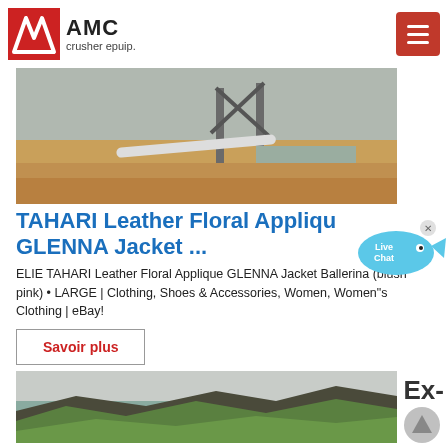AMC crusher epuip.
[Figure (photo): Industrial crusher/mining equipment facility with sandy ground and metal structures]
TAHARI Leather Floral Applique GLENNA Jacket ...
ELIE TAHARI Leather Floral Applique GLENNA Jacket Ballerina (blush pink) • LARGE | Clothing, Shoes & Accessories, Women, Women"s Clothing | eBay!
Savoir plus
[Figure (photo): Rocky hillside/quarry with green vegetation]
Ex-